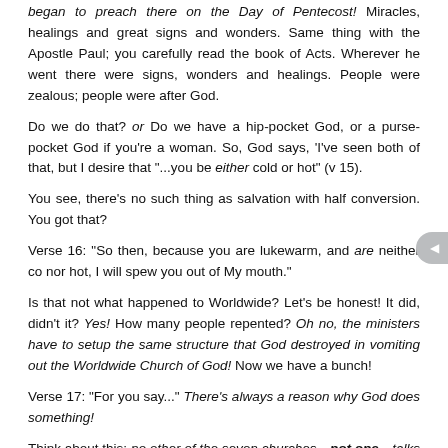began to preach there on the Day of Pentecost! Miracles, healings and great signs and wonders. Same thing with the Apostle Paul; you carefully read the book of Acts. Wherever he went there were signs, wonders and healings. People were zealous; people were after God.
Do we do that? or Do we have a hip-pocket God, or a purse-pocket God if you're a woman. So, God says, 'I've seen both of that, but I desire that "...you be either cold or hot" (v 15).
You see, there's no such thing as salvation with half conversion. You got that?
Verse 16: "So then, because you are lukewarm, and are neither co nor hot, I will spew you out of My mouth."
Is that not what happened to Worldwide? Let's be honest! It did, didn't it? Yes! How many people repented? Oh no, the ministers have to setup the same structure that God destroyed in vomiting out the Worldwide Church of God! Now we have a bunch!
Verse 17: "For you say..." There's always a reason why God does something!
Think about this: no other of the seven churches—not one—talks back to God! So, Laodiceans are 'yeah but '; that means 'I hear